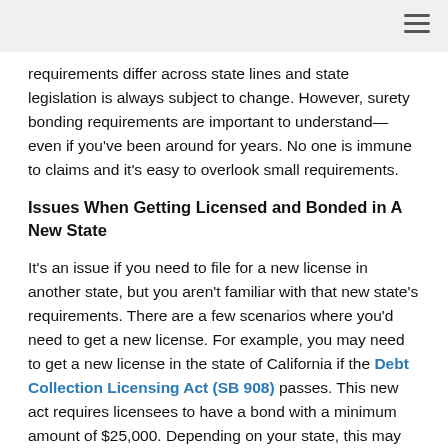requirements differ across state lines and state legislation is always subject to change. However, surety bonding requirements are important to understand—even if you've been around for years. No one is immune to claims and it's easy to overlook small requirements.
Issues When Getting Licensed and Bonded in A New State
It's an issue if you need to file for a new license in another state, but you aren't familiar with that new state's requirements. There are a few scenarios where you'd need to get a new license. For example, you may need to get a new license in the state of California if the Debt Collection Licensing Act (SB 908) passes. This new act requires licensees to have a bond with a minimum amount of $25,000. Depending on your state, this may be much less than your current debt collector's surety bond amount.
In addition to your state's bonding amount, you'll need to stay on top of that state's requirements when filling for a